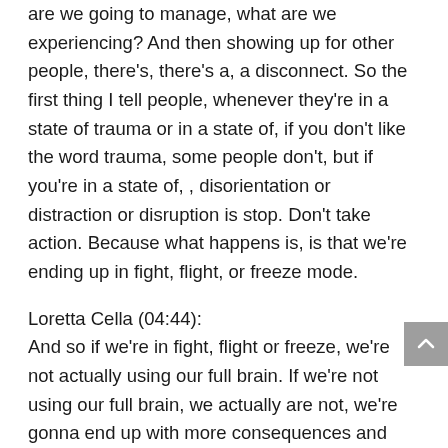are we going to manage, what are we experiencing? And then showing up for other people, there's, there's a, a disconnect. So the first thing I tell people, whenever they're in a state of trauma or in a state of, if you don't like the word trauma, some people don't, but if you're in a state of, , disorientation or distraction or disruption is stop. Don't take action. Because what happens is, is that we're ending up in fight, flight, or freeze mode.
Loretta Cella (04:44):
And so if we're in fight, flight or freeze, we're not actually using our full brain. If we're not using our full brain, we actually are not, we're gonna end up with more consequences and ramifications afterwards. And so the very first